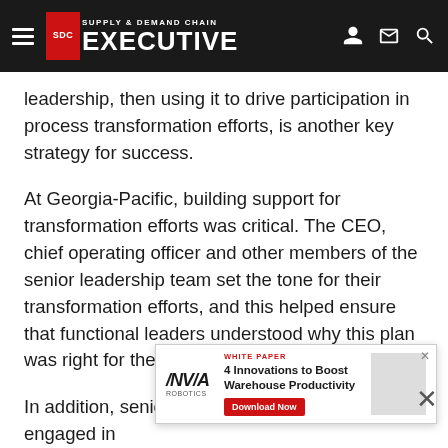Supply & Demand Chain Executive
leadership, then using it to drive participation in process transformation efforts, is another key strategy for success.
At Georgia-Pacific, building support for transformation efforts was critical. The CEO, chief operating officer and other members of the senior leadership team set the tone for their transformation efforts, and this helped ensure that functional leaders understood why this plan was right for them.
In addition, senior leadership was actively engaged in coordinating efforts through an executive steering committee... and process improvement. "You've got to expect resistance...
[Figure (screenshot): Advertisement banner: INVIA Robotics white paper '4 Innovations to Boost Warehouse Productivity' with Download Now button]